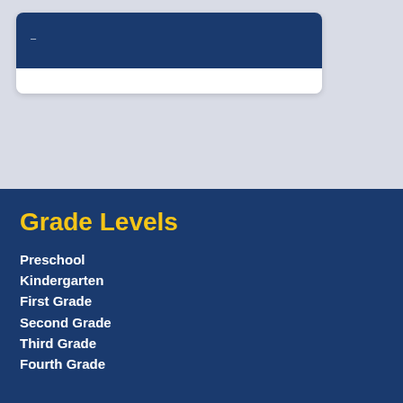[Figure (other): Top light gray section with a navy blue card element containing a dark blue header area and white body area below it]
Grade Levels
Preschool
Kindergarten
First Grade
Second Grade
Third Grade
Fourth Grade